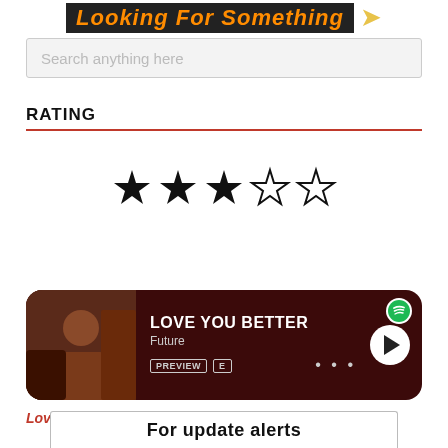Looking For Something
Search anything here
RATING
[Figure (other): 3.5 out of 5 star rating: three filled stars, one half star, one empty star]
[Figure (other): Music card: LOVE YOU BETTER by Future with PREVIEW and E badges, Spotify logo, play button, and album art]
Love you better Trendloaded most rate music
For update alerts